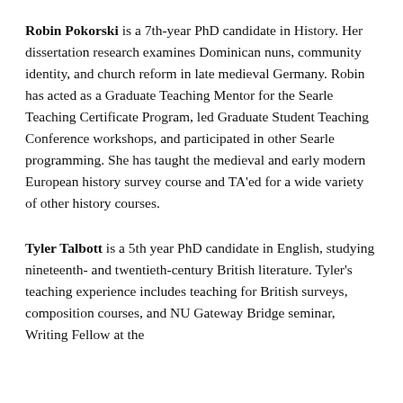Robin Pokorski is a 7th-year PhD candidate in History. Her dissertation research examines Dominican nuns, community identity, and church reform in late medieval Germany. Robin has acted as a Graduate Teaching Mentor for the Searle Teaching Certificate Program, led Graduate Student Teaching Conference workshops, and participated in other Searle programming. She has taught the medieval and early modern European history survey course and TA'ed for a wide variety of other history courses.
Tyler Talbott is a 5th year PhD candidate in English, studying nineteenth- and twentieth-century British literature. Tyler's teaching experience includes teaching for British surveys, composition courses, and NU Gateway Bridge seminar, Writing Fellow at the...